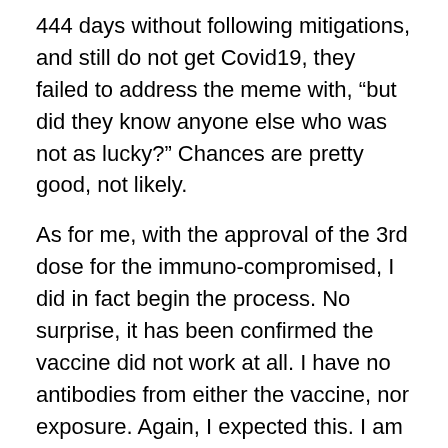444 days without following mitigations, and still do not get Covid19, they failed to address the meme with, “but did they know anyone else who was not as lucky?” Chances are pretty good, not likely.
As for me, with the approval of the 3rd dose for the immuno-compromised, I did in fact begin the process. No surprise, it has been confirmed the vaccine did not work at all. I have no antibodies from either the vaccine, nor exposure. Again, I expected this. I am hoping that when I get the second dose, there will be at least a little bump from antibodies, because if not, then a 3rd dose will not necessarily guarantee anything for me. The bottom line, I will still have to take the precautions I have this entire time. Some call it “living in fear”. I call it living smart.
Here we are, the country pretty much back to normal